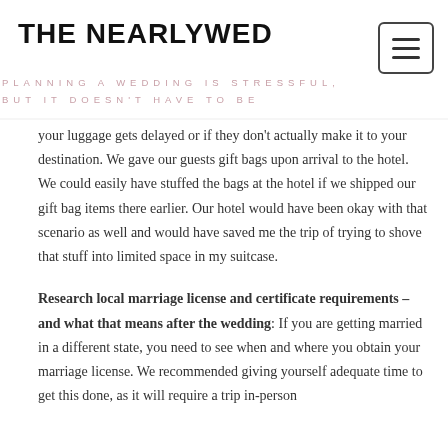THE NEARLYWED
PLANNING A WEDDING IS STRESSFUL, BUT IT DOESN'T HAVE TO BE
your luggage gets delayed or if they don't actually make it to your destination. We gave our guests gift bags upon arrival to the hotel. We could easily have stuffed the bags at the hotel if we shipped our gift bag items there earlier. Our hotel would have been okay with that scenario as well and would have saved me the trip of trying to shove that stuff into limited space in my suitcase.
Research local marriage license and certificate requirements – and what that means after the wedding: If you are getting married in a different state, you need to see when and where you obtain your marriage license. We recommended giving yourself adequate time to get this done, as it will require a trip in-person